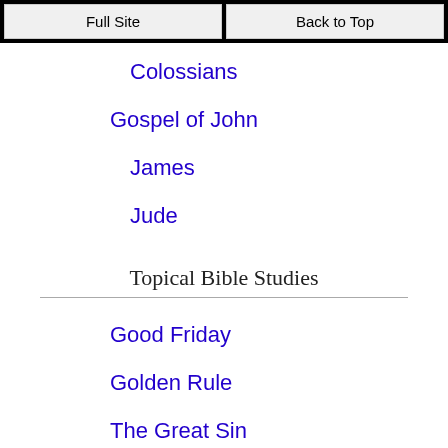Full Site | Back to Top
Colossians
Gospel of John
James
Jude
Topical Bible Studies
Good Friday
Golden Rule
The Great Sin
Hannah's Prayer